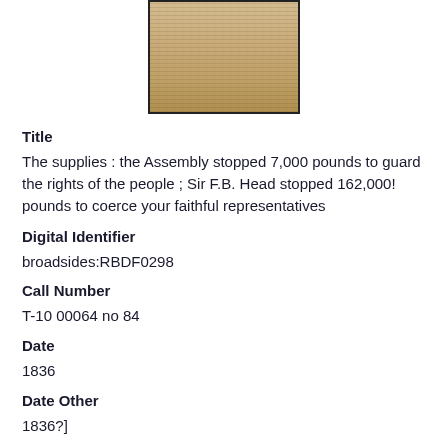[Figure (photo): Thumbnail image of a historical broadside document with aged, yellowed paper and dense text lines]
Title
The supplies : the Assembly stopped 7,000 pounds to guard the rights of the people ; Sir F.B. Head stopped 162,000! pounds to coerce your faithful representatives
Digital Identifier
broadsides:RBDF0298
Call Number
T-10 00064 no 84
Date
1836
Date Other
1836?]